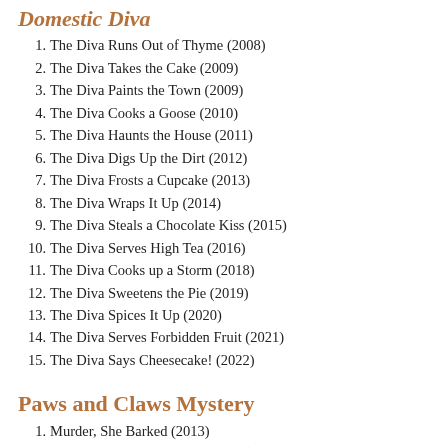Domestic Diva
1. The Diva Runs Out of Thyme (2008)
2. The Diva Takes the Cake (2009)
3. The Diva Paints the Town (2009)
4. The Diva Cooks a Goose (2010)
5. The Diva Haunts the House (2011)
6. The Diva Digs Up the Dirt (2012)
7. The Diva Frosts a Cupcake (2013)
8. The Diva Wraps It Up (2014)
9. The Diva Steals a Chocolate Kiss (2015)
10. The Diva Serves High Tea (2016)
11. The Diva Cooks up a Storm (2018)
12. The Diva Sweetens the Pie (2019)
13. The Diva Spices It Up (2020)
14. The Diva Serves Forbidden Fruit (2021)
15. The Diva Says Cheesecake! (2022)
Paws and Claws Mystery
1. Murder, She Barked (2013)
2. The Ghost and Mrs. Mewer (2014)